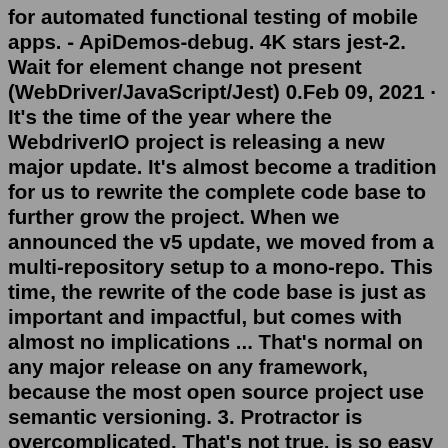for automated functional testing of mobile apps. - ApiDemos-debug. 4K stars jest-2. Wait for element change not present (WebDriver/JavaScript/Jest) 0.Feb 09, 2021 · It's the time of the year where the WebdriverIO project is releasing a new major update. It's almost become a tradition for us to rewrite the complete code base to further grow the project. When we announced the v5 update, we moved from a multi-repository setup to a mono-repo. This time, the rewrite of the code base is just as important and impactful, but comes with almost no implications ... That's normal on any major release on any framework, because the most open source project use semantic versioning. 3. Protractor is overcomplicated. That's not true, is so easy and had many good features, the setup is so easy, the minimum needed is where directory the spec are.Feb 25, 2016 · WebdriverIO is a JavaScript / nodejs implementation of the (Selenium 2.0) WebDriver API - one of many (Selendroid, Protractor, etc.) As the specification says: WebDriver is a remote control interface that enables